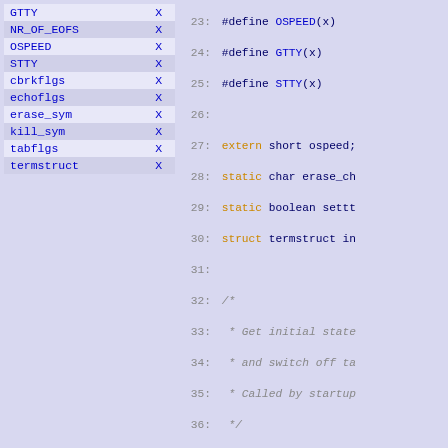| Symbol |  |
| --- | --- |
| GTTY | X |
| NR_OF_EOFS | X |
| OSPEED | X |
| STTY | X |
| cbrkflgs | X |
| echoflgs | X |
| erase_sym | X |
| kill_sym | X |
| tabflgs | X |
| termstruct | X |
[Figure (screenshot): Source code listing lines 23-52 of a C program showing #define macros for OSPEED, GTTY, STTY, extern and static variable declarations, a comment block describing gettty() function, and the gettty() function body including GTTY call, perror, curttyb assignments, ospeed, erase_char, kill_char, getioctls(), tabflgs check, setctty(), settty_needed assignment, and closing brace.]